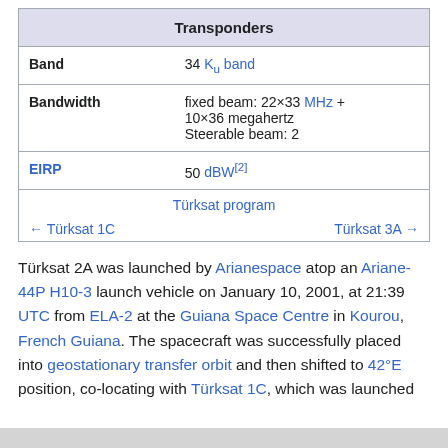| Transponders |
| --- |
| Band | 34 Ku band |
| Bandwidth | fixed beam: 22×33 MHz + 10×36 megahertz
Steerable beam: 2 |
| EIRP | 50 dBW[2] |
| Türksat program |
| --- |
| ← Türksat 1C | Türksat 3A → |
Türksat 2A was launched by Arianespace atop an Ariane-44P H10-3 launch vehicle on January 10, 2001, at 21:39 UTC from ELA-2 at the Guiana Space Centre in Kourou, French Guiana. The spacecraft was successfully placed into geostationary transfer orbit and then shifted to 42°E position, co-locating with Türksat 1C, which was launched